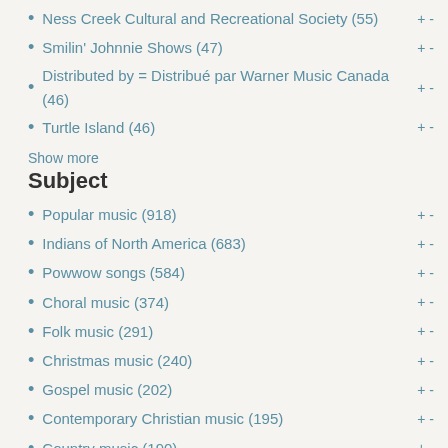Ness Creek Cultural and Recreational Society (55)
Smilin' Johnnie Shows (47)
Distributed by = Distribué par Warner Music Canada (46)
Turtle Island (46)
Show more
Subject
Popular music (918)
Indians of North America (683)
Powwow songs (584)
Choral music (374)
Folk music (291)
Christmas music (240)
Gospel music (202)
Contemporary Christian music (195)
Country music (190)
Children's choirs (164)
Show more
Bib Number
b27770473 (55)
b2809475x (44)